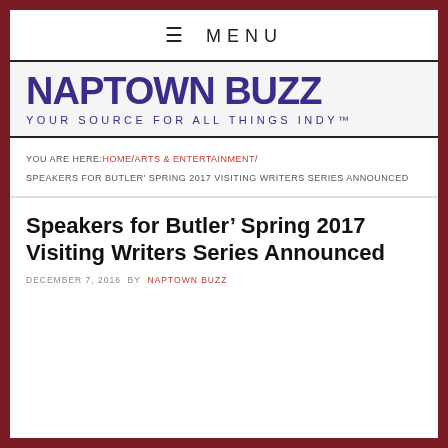≡ MENU
NAPTOWN BUZZ
YOUR SOURCE FOR ALL THINGS INDY™
YOU ARE HERE: HOME / ARTS & ENTERTAINMENT / SPEAKERS FOR BUTLER' SPRING 2017 VISITING WRITERS SERIES ANNOUNCED
Speakers for Butler' Spring 2017 Visiting Writers Series Announced
DECEMBER 7, 2016 BY NAPTOWN BUZZ